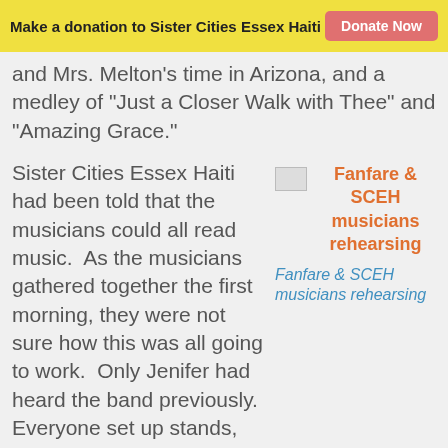Make a donation to Sister Cities Essex Haiti | Donate Now
and Mrs. Melton's time in Arizona, and a medley of "Just a Closer Walk with Thee" and "Amazing Grace."
Sister Cities Essex Haiti had been told that the musicians could all read music.  As the musicians gathered together the first morning, they were not sure how this was all going to work.  Only Jenifer had heard the band previously.  Everyone set up stands, distributed music, put the drums together, and began playing a few rudimentary scales and exercises from the technique books.  It was a bit like first day in school
[Figure (photo): Fanfare & SCEH musicians rehearsing - image placeholder with orange title and blue italic caption]
Fanfare & SCEH musicians rehearsing